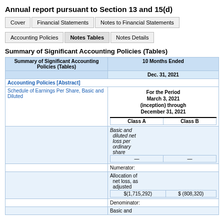Annual report pursuant to Section 13 and 15(d)
Cover | Financial Statements | Notes to Financial Statements | Accounting Policies | Notes Tables | Notes Details
Summary of Significant Accounting Policies (Tables)
| Summary of Significant Accounting Policies (Tables) | 10 Months Ended Dec. 31, 2021 |
| --- | --- |
| Accounting Policies [Abstract] |  |
| Schedule of Earnings Per Share, Basic and Diluted | For the Period March 3, 2021 (inception) through December 31, 2021 | Class A | Class B |
| Basic and diluted net loss per ordinary share | — | — |
| Numerator: |  |  |
| Allocation of net loss, as adjusted | $(1,715,292) | $ (808,320) |
| Denominator: |  |  |
| Basic and |  |  |